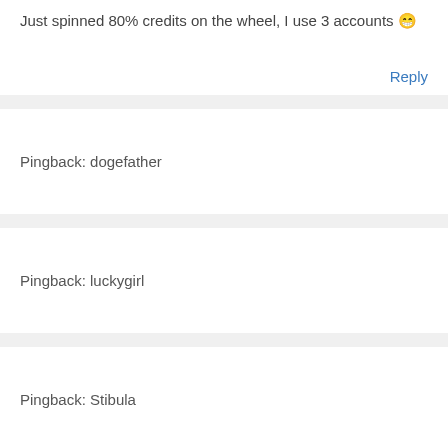Just spinned 80% credits on the wheel, I use 3 accounts 😁
Reply
Pingback: dogefather
Pingback: luckygirl
Pingback: Stibula